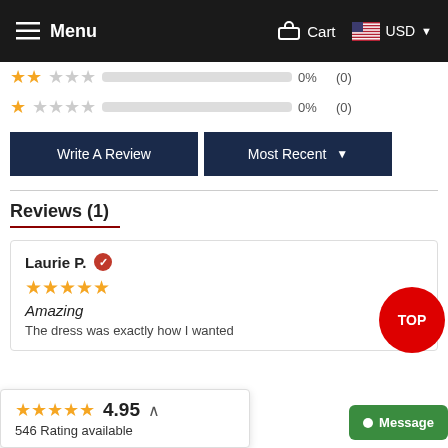Menu | Cart | USD
[Figure (infographic): Star rating rows showing 2-star and 1-star rows, both with 0% and (0) counts]
[Figure (screenshot): Two buttons: Write A Review and Most Recent dropdown]
Reviews (1)
Laurie P. — 5 stars — Amazing — The dress was exactly how I wanted
4.95 — 546 Rating available
Message